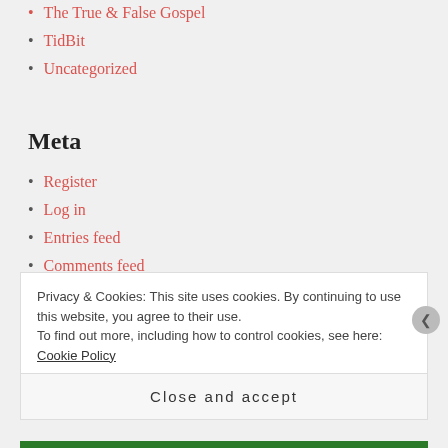The True & False Gospel
TidBit
Uncategorized
Meta
Register
Log in
Entries feed
Comments feed
WordPress.com
Privacy & Cookies: This site uses cookies. By continuing to use this website, you agree to their use.
To find out more, including how to control cookies, see here: Cookie Policy
Close and accept